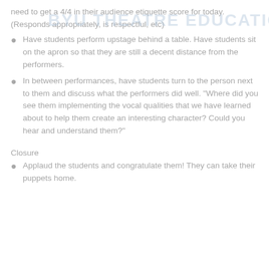need to get a 4/4 in their audience etiquette score for today. (Responds appropriately, is respectful, etc)
Have students perform upstage behind a table. Have students sit on the apron so that they are still a decent distance from the performers.
In between performances, have students turn to the person next to them and discuss what the performers did well. "Where did you see them implementing the vocal qualities that we have learned about to help them create an interesting character? Could you hear and understand them?"
Closure
Applaud the students and congratulate them! They can take their puppets home.